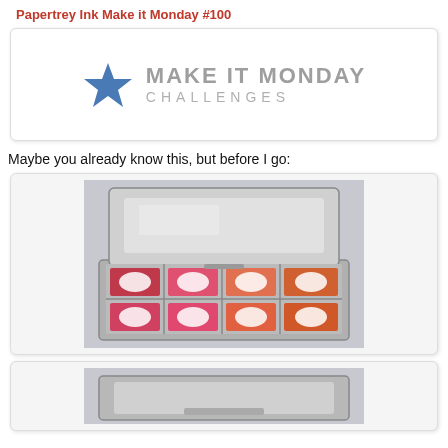Papertrey Ink Make it Monday #100
[Figure (logo): Make It Monday Challenges logo with a blue star on the left and gray text reading MAKE IT MONDAY CHALLENGES]
Maybe you already know this, but before I go:
[Figure (photo): Photo of an open metal tin containing rows of colorful ink pads in red, pink, orange and coral tones with oval labels]
[Figure (photo): Partial photo of another metal tin at the bottom of the page]